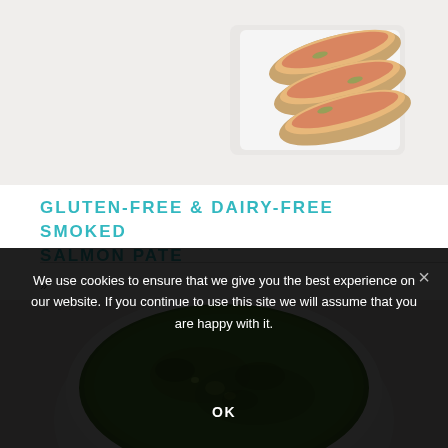[Figure (photo): Food photo of salmon/shrimp bruschetta on a white plate, viewed from above on a light background]
GLUTEN-FREE & DAIRY-FREE SMOKED SALMON PATE
»
[Figure (photo): Bowl of green herb soup or pesto sauce in a white bowl viewed from above]
We use cookies to ensure that we give you the best experience on our website. If you continue to use this site we will assume that you are happy with it.
OK